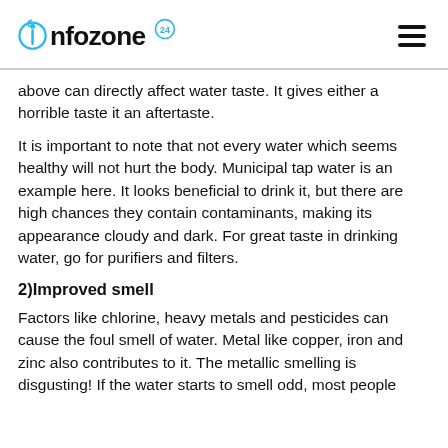infozone24
above can directly affect water taste. It gives either a horrible taste it an aftertaste.
It is important to note that not every water which seems healthy will not hurt the body. Municipal tap water is an example here. It looks beneficial to drink it, but there are high chances they contain contaminants, making its appearance cloudy and dark. For great taste in drinking water, go for purifiers and filters.
2)Improved smell
Factors like chlorine, heavy metals and pesticides can cause the foul smell of water. Metal like copper, iron and zinc also contributes to it. The metallic smelling is disgusting! If the water starts to smell odd, most people